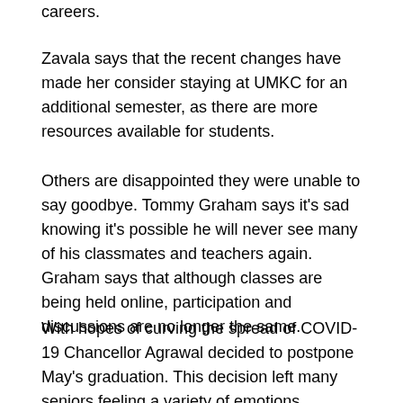careers.
Zavala says that the recent changes have made her consider staying at UMKC for an additional semester, as there are more resources available for students.
Others are disappointed they were unable to say goodbye. Tommy Graham says it's sad knowing it's possible he will never see many of his classmates and teachers again. Graham says that although classes are being held online, participation and discussions are no longer the same.
With hopes of curving the spread of COVID-19 Chancellor Agrawal decided to postpone May's graduation. This decision left many seniors feeling a variety of emotions. Though seniors will still receive their degree, the joy of walking across the stage will have to wait until December.